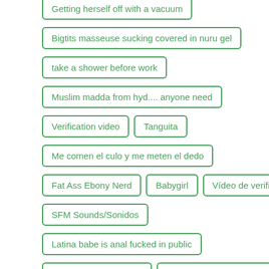Getting herself off with a vacuum
Bigtits masseuse sucking covered in nuru gel
take a shower before work
Muslim madda from hyd.... anyone need
Verification video
Tanguita
Me comen el culo y me meten el dedo
Fat Ass Ebony Nerd
Babygirl
Vídeo de verificación
SFM Sounds/Sonidos
Latina babe is anal fucked in public
Beautiful Big Fat Ass 2
MILF caught in the shower
Showering teen gets plowed
Metiéndole la verga a mi puta
Novinha dan&ccedil;ando pelada